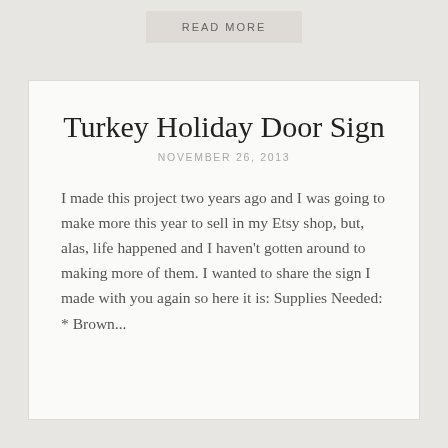READ MORE
Turkey Holiday Door Sign
NOVEMBER 26, 2013
I made this project two years ago and I was going to make more this year to sell in my Etsy shop, but, alas, life happened and I haven't gotten around to making more of them. I wanted to share the sign I made with you again so here it is: Supplies Needed: * Brown...